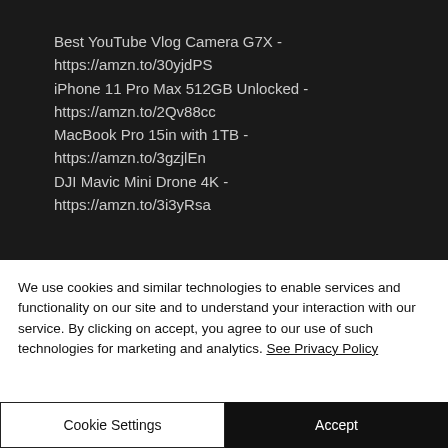[Figure (screenshot): Dark background screenshot showing product links: Best YouTube Vlog Camera G7X - https://amzn.to/30yjdPS, iPhone 11 Pro Max 512GB Unlocked - https://amzn.to/2Qv88cc, MacBook Pro 15in with 1TB - https://amzn.to/3gzjlEn, DJI Mavic Mini Drone 4K - https://amzn.to/3i3yRsa]
We use cookies and similar technologies to enable services and functionality on our site and to understand your interaction with our service. By clicking on accept, you agree to our use of such technologies for marketing and analytics. See Privacy Policy
Cookie Settings
Accept